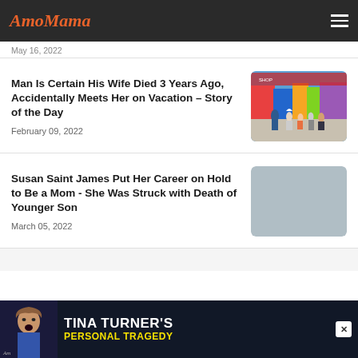AmoMama
May 16, 2022
Man Is Certain His Wife Died 3 Years Ago, Accidentally Meets Her on Vacation – Story of the Day
February 09, 2022
[Figure (photo): People walking on a busy outdoor boardwalk/street with colorful storefronts]
Susan Saint James Put Her Career on Hold to Be a Mom - She Was Struck with Death of Younger Son
March 05, 2022
[Figure (photo): Gray placeholder image for Susan Saint James article]
[Figure (photo): Advertisement banner: Tina Turner's Personal Tragedy with photo of woman]
TINA TURNER'S PERSONAL TRAGEDY